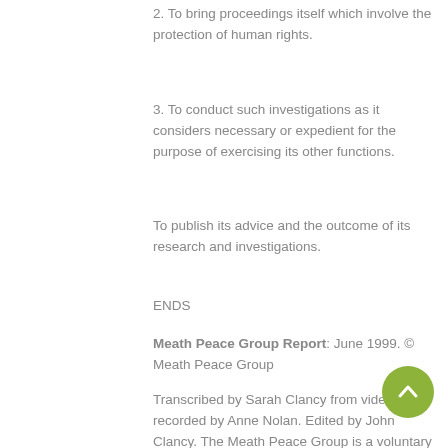2. To bring proceedings itself which involve the protection of human rights.
3. To conduct such investigations as it considers necessary or expedient for the purpose of exercising its other functions.
To publish its advice and the outcome of its research and investigations.
ENDS
Meath Peace Group Report: June 1999. © Meath Peace Group
Transcribed by Sarah Clancy from video tapes recorded by Anne Nolan. Edited by John Clancy. The Meath Peace Group is a voluntary group founded in April 1993. 33 public talks